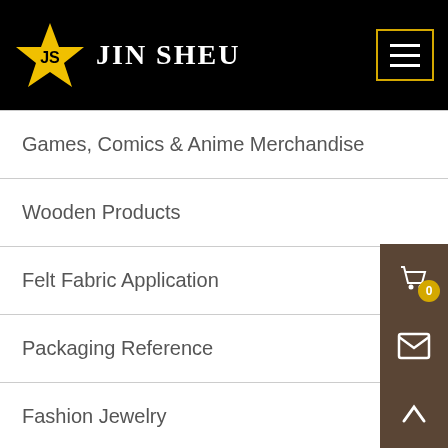JIN SHEU
Games, Comics & Anime Merchandise
Wooden Products
Felt Fabric Application
Packaging Reference
Fashion Jewelry
Wedding Favor Gifts
Times & Plus Wedding Gift